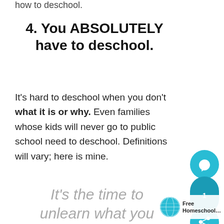how to deschool.
4. You ABSOLUTELY have to deschool.
It's hard to deschool when you don't what it is or why. Even families whose kids will never go to public school need to deschool. Definitions will vary; here is mine.
It's the time to unlearn what you think